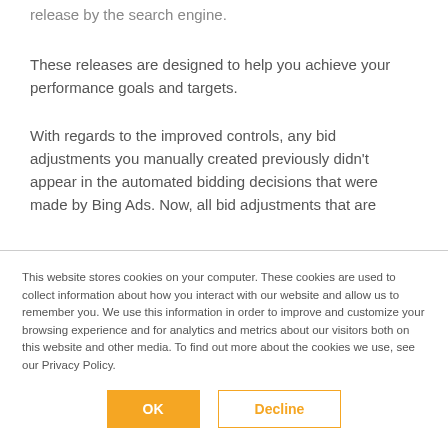release by the search engine.
These releases are designed to help you achieve your performance goals and targets.
With regards to the improved controls, any bid adjustments you manually created previously didn't appear in the automated bidding decisions that were made by Bing Ads. Now, all bid adjustments that are
This website stores cookies on your computer. These cookies are used to collect information about how you interact with our website and allow us to remember you. We use this information in order to improve and customize your browsing experience and for analytics and metrics about our visitors both on this website and other media. To find out more about the cookies we use, see our Privacy Policy.
OK
Decline